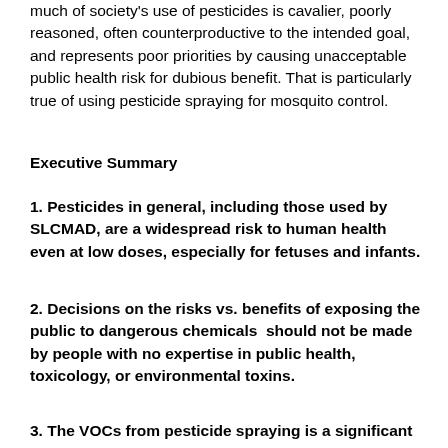much of society's use of pesticides is cavalier, poorly reasoned, often counterproductive to the intended goal, and represents poor priorities by causing unacceptable public health risk for dubious benefit. That is particularly true of using pesticide spraying for mosquito control.
Executive Summary
1. Pesticides in general, including those used by SLCMAD, are a widespread risk to human health even at low doses, especially for fetuses and infants.
2. Decisions on the risks vs. benefits of exposing the public to dangerous chemicals  should not be made by people with no expertise in public health, toxicology, or environmental toxins.
3. The VOCs from pesticide spraying is a significant